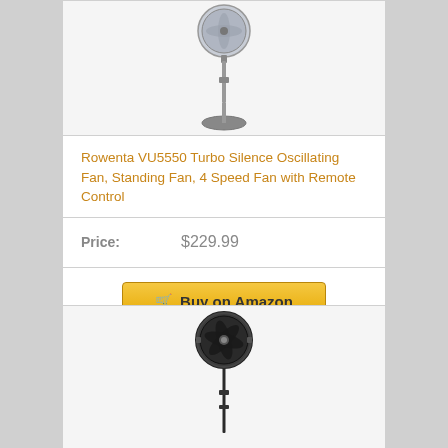[Figure (photo): Rowenta VU5550 standing pedestal fan with oscillating head, silver/metal finish, on white background]
Rowenta VU5550 Turbo Silence Oscillating Fan, Standing Fan, 4 Speed Fan with Remote Control
Price: $229.99
Buy on Amazon
[Figure (photo): Black industrial standing pedestal fan with 3-blade head on a tall narrow pole, on light background]